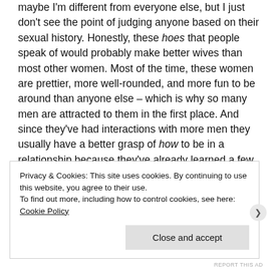maybe I'm different from everyone else, but I just don't see the point of judging anyone based on their sexual history. Honestly, these hoes that people speak of would probably make better wives than most other women. Most of the time, these women are prettier, more well-rounded, and more fun to be around than anyone else – which is why so many men are attracted to them in the first place. And since they've had interactions with more men they usually have a better grasp of how to be in a relationship because they've already learned a few life lessons along the way.
Privacy & Cookies: This site uses cookies. By continuing to use this website, you agree to their use.
To find out more, including how to control cookies, see here: Cookie Policy
Close and accept
REPORT THIS AD